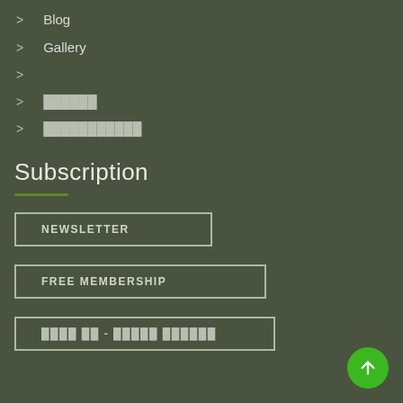> Blog
> Gallery
>
> ██████
> ███████████
Subscription
NEWSLETTER
FREE MEMBERSHIP
████ ██ - █████ ██████